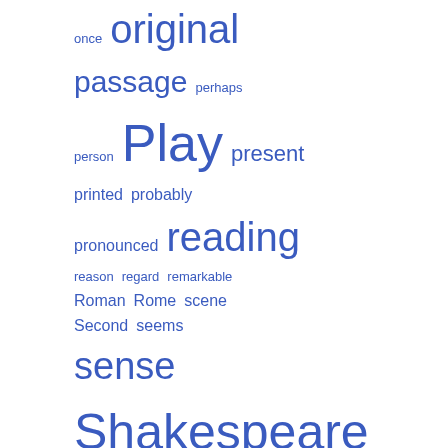[Figure (infographic): A word cloud (tag cloud) displayed in blue on white background. Words vary in size indicating frequency/importance. Words include: once, original, passage, perhaps, person, Play, present, printed, probably, pronounced, reading, reason, regard, remarkable, Roman, Rome, scene, Second, seems, sense, Shakespeare, signifying, slight, sometimes, speak, speech, spirit, stage, direction, stand, strong, supposed, syllable, taken, tell, thee, thing, Third, thou, thought, tion, true, verb, verse, word, writers]